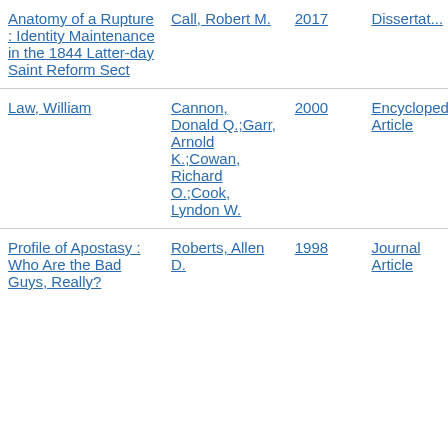| Title | Author | Year | Type |
| --- | --- | --- | --- |
| Anatomy of a Rupture : Identity Maintenance in the 1844 Latter-day Saint Reform Sect | Call, Robert M. | 2017 | Dissertation |
| Law, William | Cannon, Donald Q.;Garr, Arnold K.;Cowan, Richard O.;Cook, Lyndon W. | 2000 | Encyclopedia Article |
| Profile of Apostasy : Who Are the Bad Guys, Really? | Roberts, Allen D. | 1998 | Journal Article |